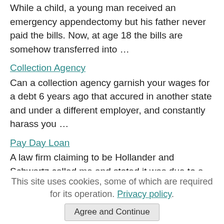While a child, a young man received an emergency appendectomy but his father never paid the bills. Now, at age 18 the bills are somehow transferred into …
Collection Agency
Can a collection agency garnish your wages for a debt 6 years ago that accured in another state and under a different employer, and constantly harass you …
Pay Day Loan
A law firm claiming to be Hollander and Schwartz called me and stated it was due to a affidavit being filed against me for fraudulent checks. I explained …
notices for credit card debt in tx
what kind of notice is required in tx for a credit card debt
This site uses cookies, some of which are required for its operation. Privacy policy.
Agree and Continue